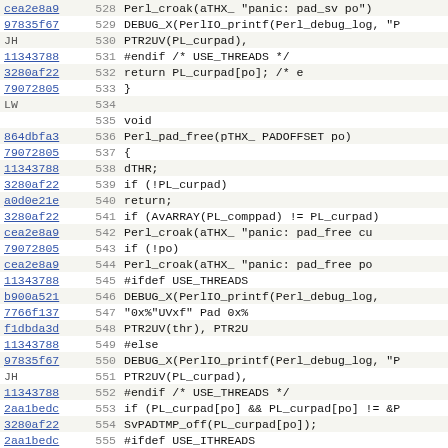| hash | line | code |
| --- | --- | --- |
| cea2e8a9 | 528 |     Perl_croak(aTHX_ "panic: pad_sv po") |
| 97835f67 | 529 |     DEBUG_X(PerlIO_printf(Perl_debug_log, "P |
| JH | 530 |                         PTR2UV(PL_curpad), |
| 11343788 | 531 | #endif /* USE_THREADS */ |
| 3280af22 | 532 |     return PL_curpad[po];                /* e |
| 79072805 | 533 | } |
| LW | 534 |  |
|  | 535 | void |
| 864dbfa3 | 536 | Perl_pad_free(pTHX_ PADOFFSET po) |
| 79072805 | 537 | { |
| 11343788 | 538 |     dTHR; |
| 3280af22 | 539 |     if (!PL_curpad) |
| a0d0e21e | 540 |         return; |
| 3280af22 | 541 |     if (AvARRAY(PL_comppad) != PL_curpad) |
| cea2e8a9 | 542 |         Perl_croak(aTHX_ "panic: pad_free cu |
| 79072805 | 543 |     if (!po) |
| cea2e8a9 | 544 |         Perl_croak(aTHX_ "panic: pad_free po |
| 11343788 | 545 | #ifdef USE_THREADS |
| b900a521 | 546 |     DEBUG_X(PerlIO_printf(Perl_debug_log, |
| 7766f137 | 547 |                           "0x%"UVxf" Pad 0x% |
| f1dbda3d | 548 |                           PTR2UV(thr), PTR2U |
| 11343788 | 549 | #else |
| 97835f67 | 550 |     DEBUG_X(PerlIO_printf(Perl_debug_log, "P |
| JH | 551 |                         PTR2UV(PL_curpad), |
| 11343788 | 552 | #endif /* USE_THREADS */ |
| 2aa1bedc | 553 |     if (PL_curpad[po] && PL_curpad[po] != &P |
| 3280af22 | 554 |         SvPADTMP_off(PL_curpad[po]); |
| 2aa1bedc | 555 | #ifdef USE_ITHREADS |
| GS | 556 |         SvREADONLY_off(PL_curpad[po]); /* c |
|  | 557 | #endif |
|  | 558 |     } |
| 3280af22 | 559 |     if ((I32)po < PL_padix) |
| NIO | 560 |  |